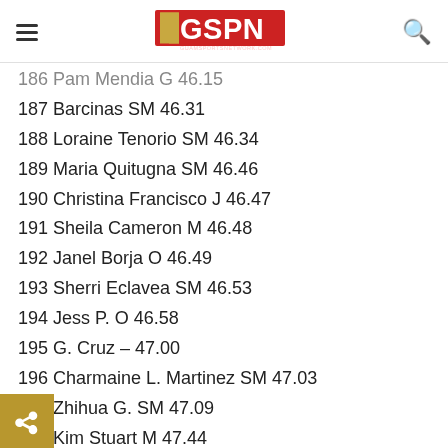GSPN - Guam Sports Network
186 Pam Mendia G 46.15 (partial)
187 Barcinas SM 46.31
188 Loraine Tenorio SM 46.34
189 Maria Quitugna SM 46.46
190 Christina Francisco J 46.47
191 Sheila Cameron M 46.48
192 Janel Borja O 46.49
193 Sherri Eclavea SM 46.53
194 Jess P. O 46.58
195 G. Cruz – 47.00
196 Charmaine L. Martinez SM 47.03
197 Zhihua G. SM 47.09
198 Kim Stuart M 47.44
199 Victoria Bonafede Y 47.47
200 Rachael Bonafede SM 47.48